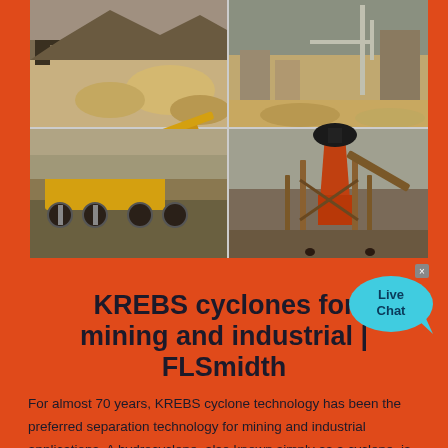[Figure (photo): Four-panel photo grid showing mining and industrial equipment: top-left shows sand/gravel construction site, top-right shows industrial site with crane structure, bottom-left shows yellow mobile crushing/screening equipment, bottom-right shows large orange industrial processing tower/cyclone plant.]
[Figure (illustration): Live Chat speech bubble icon in cyan/light blue with text 'Live Chat']
KREBS cyclones for mining and industrial | FLSmidth
For almost 70 years, KREBS cyclone technology has been the preferred separation technology for mining and industrial applications. A hydrocyclone, also known simply as a cyclone, is a centrifugal device with no moving parts. It can be used to concentrate slurries, classify solids in liquid suspensions, degrit liquids, and for washing or ...